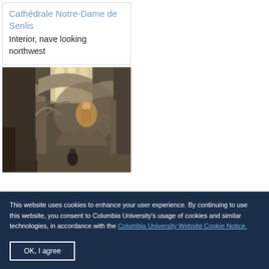Cathédrale Notre-Dame de Senlis
Interior, nave looking northwest
[Figure (photo): Interior photograph of Cathédrale Notre-Dame de Senlis showing the nave looking northwest, with stone arches, columns, tall Gothic windows with light streaming in, and a painted religious figure visible in the apse.]
This website uses cookies to enhance your user experience. By continuing to use this website, you consent to Columbia University's usage of cookies and similar technologies, in accordance with the Columbia University Website Cookie Notice.
OK, I agree